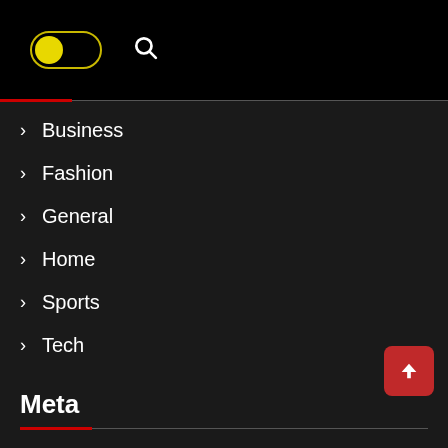[Figure (screenshot): Dark-themed website navigation header with a yellow toggle switch and search icon on black background]
> Business
> Fashion
> General
> Home
> Sports
> Tech
Meta
> Log In
> Entries Feed